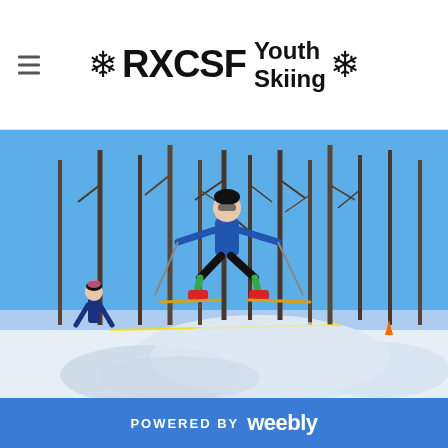RXCSF Youth Skiing
[Figure (photo): A young skier wearing a blue jacket, black pants, and colorful ski boots jumps off a snow mound at a cross-country ski area. Bare winter trees and blue sky are visible in the background. Another skier in blue and pink stands in the background on the left.]
POWERED BY weebly